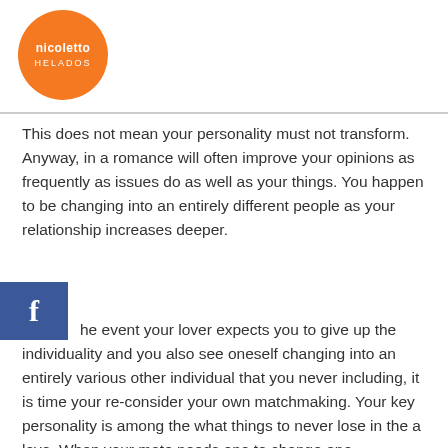[Figure (logo): Nicoletto Helados circular orange logo with white text]
This does not mean your personality must not transform. Anyway, in a romance will often improve your opinions as frequently as issues do as well as your things. You happen to be changing into an entirely different people as your relationship increases deeper.
[Figure (logo): Facebook share button icon - blue square with white 'f']
he event your lover expects you to give up the individuality and you also see oneself changing into an entirely various other individual that you never including, it is time your re-consider your own matchmaking. Your key personality is among the what things to never lose in the a love. When your mate needs one to change one, performed it ever even love who you are first off? Merely a greedy lover should do one to.